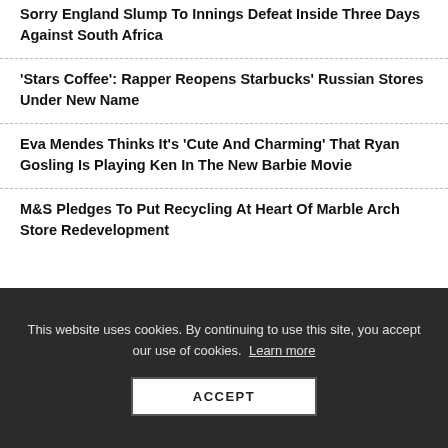Sorry England Slump To Innings Defeat Inside Three Days Against South Africa
'Stars Coffee': Rapper Reopens Starbucks' Russian Stores Under New Name
Eva Mendes Thinks It's 'Cute And Charming' That Ryan Gosling Is Playing Ken In The New Barbie Movie
M&S Pledges To Put Recycling At Heart Of Marble Arch Store Redevelopment
This website uses cookies. By continuing to use this site, you accept our use of cookies. Learn more
ACCEPT